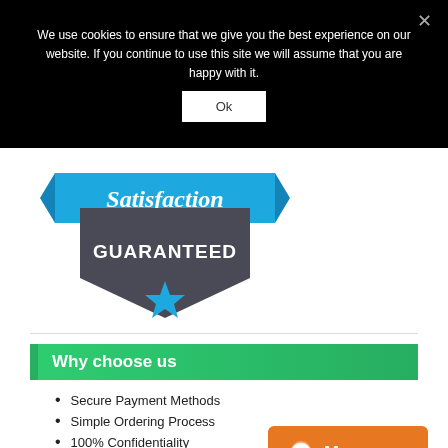We use cookies to ensure that we give you the best experience on our website. If you continue to use this site we will assume that you are happy with it.
Ok
[Figure (illustration): Satisfaction Guaranteed badge/shield with blue ribbon banner on top reading 'Satisfaction' in italic script, dark gray shield shape with 'GUARANTEED' text in white capitals, and a blue star at the bottom point of the shield.]
Why choose us
Secure Payment Methods
Simple Ordering Process
100% Confidentiality
Qualified Writers Only
[Figure (illustration): Orange rounded rectangle button with chat bubble icon and 'Message' text in white bold font.]